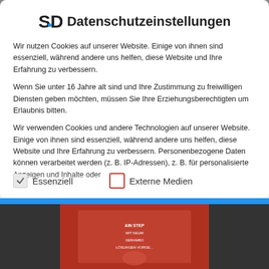Datenschutzeinstellungen
Wir nutzen Cookies auf unserer Website. Einige von ihnen sind essenziell, während andere uns helfen, diese Website und Ihre Erfahrung zu verbessern.
Wenn Sie unter 16 Jahre alt sind und Ihre Zustimmung zu freiwilligen Diensten geben möchten, müssen Sie Ihre Erziehungsberechtigten um Erlaubnis bitten.
Wir verwenden Cookies und andere Technologien auf unserer Website. Einige von ihnen sind essenziell, während andere uns helfen, diese Website und Ihre Erfahrung zu verbessern. Personenbezogene Daten können verarbeitet werden (z. B. IP-Adressen), z. B. für personalisierte Anzeigen und Inhalte oder
Essenziell
Externe Medien
[Figure (screenshot): Bottom portion showing a website screenshot with blue bar and sports image partially visible]